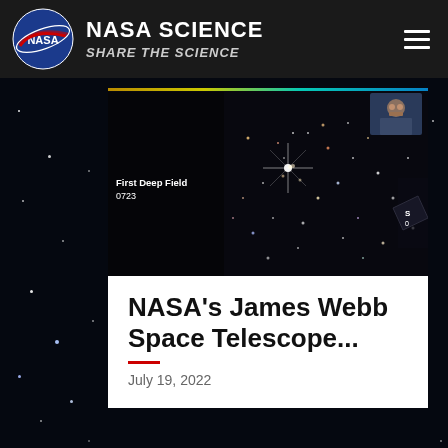NASA SCIENCE — SHARE THE SCIENCE
[Figure (screenshot): NASA James Webb Space Telescope First Deep Field image screenshot from a video presentation, showing a dense star cluster on dark background with text overlay 'First Deep Field 0723' and a small presenter thumbnail in top right corner]
NASA's James Webb Space Telescope...
July 19, 2022